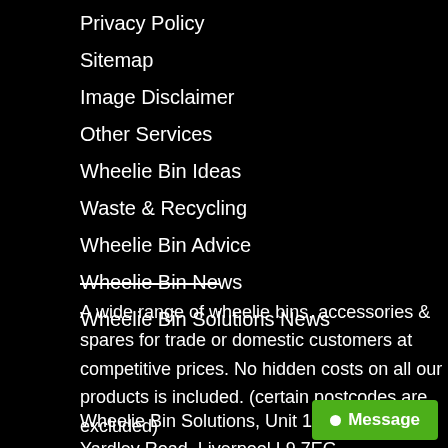Privacy Policy
Sitemap
Image Disclaimer
Other Services
Wheelie Bin Ideas
Waste & Recycling
Wheelie Bin Advice
Wheelie Bin News
Wheelie Bin Solutions News
A wide range of wheelie bins, accessories & spares for trade or domestic customers at competitive prices. No hidden costs on all our products is included. (certain postcodes are excluded)
Wheelie Bin Solutions, Unit 15c, Yardley Road, Liverpool L9 7EG